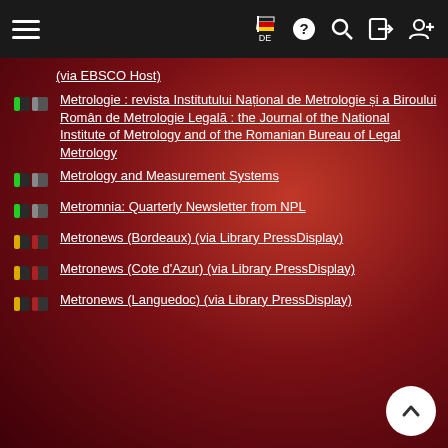Navigation bar with hamburger menu, flag/DE, help, search, login, register icons
(via EBSCO Host)
Metrologie : revista Institutului Național de Metrologie și a Biroului Român de Metrologie Legală : the Journal of the National Institute of Metrology and of the Romanian Bureau of Legal Metrology
Metrology and Measurement Systems
Metromnia: Quarterly Newsletter from NPL
Metronews (Bordeaux) (via Library PressDisplay)
Metronews (Cote d'Azur) (via Library PressDisplay)
Metronews (Languedoc) (via Library PressDisplay)